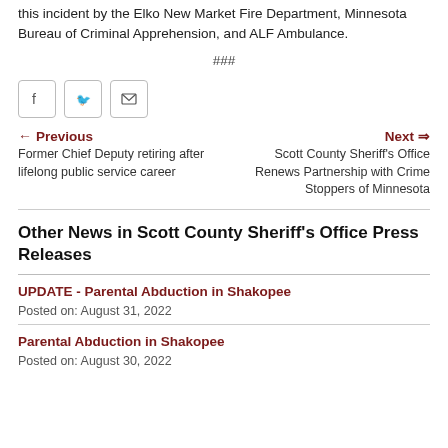this incident by the Elko New Market Fire Department, Minnesota Bureau of Criminal Apprehension, and ALF Ambulance.
###
[Figure (other): Social share buttons: Facebook, Twitter, Email]
← Previous
Former Chief Deputy retiring after lifelong public service career
Next ⇒
Scott County Sheriff's Office Renews Partnership with Crime Stoppers of Minnesota
Other News in Scott County Sheriff's Office Press Releases
UPDATE - Parental Abduction in Shakopee
Posted on: August 31, 2022
Parental Abduction in Shakopee
Posted on: August 30, 2022